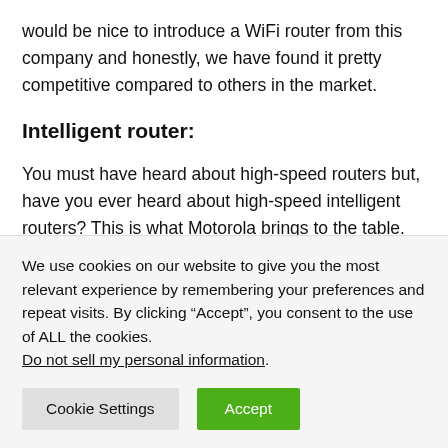would be nice to introduce a WiFi router from this company and honestly, we have found it pretty competitive compared to others in the market.
Intelligent router:
You must have heard about high-speed routers but, have you ever heard about high-speed intelligent routers? This is what Motorola brings to the table. The Motorola AC2600 comes with a high-speed intelligent router link
We use cookies on our website to give you the most relevant experience by remembering your preferences and repeat visits. By clicking “Accept”, you consent to the use of ALL the cookies. Do not sell my personal information.
Cookie Settings
Accept